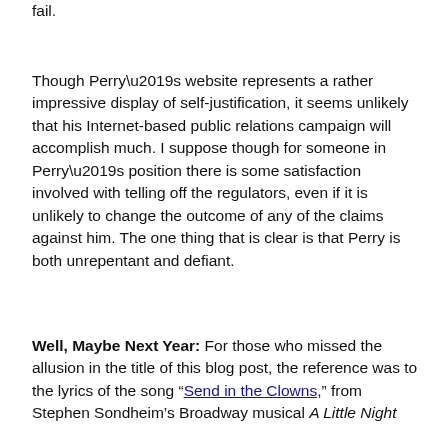fail.
Though Perry’s website represents a rather impressive display of self-justification, it seems unlikely that his Internet-based public relations campaign will accomplish much. I suppose though for someone in Perry’s position there is some satisfaction involved with telling off the regulators, even if it is unlikely to change the outcome of any of the claims against him. The one thing that is clear is that Perry is both unrepentant and defiant.
Well, Maybe Next Year: For those who missed the allusion in the title of this blog post, the reference was to the lyrics of the song “Send in the Clowns,” from Stephen Sondheim’s Broadway musical A Little Night